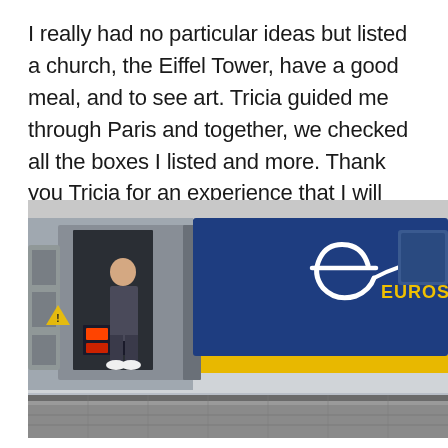I really had no particular ideas but listed a church, the Eiffel Tower, have a good meal, and to see art. Tricia guided me through Paris and together, we checked all the boxes I listed and more. Thank you Tricia for an experience that I will always treasure. ❤
[Figure (photo): A photo of a Eurostar high-speed train at a platform. The train has a navy blue and silver body with a yellow stripe, and the Eurostar logo is visible on the side. A person is visible stepping off or onto the train through an open door.]